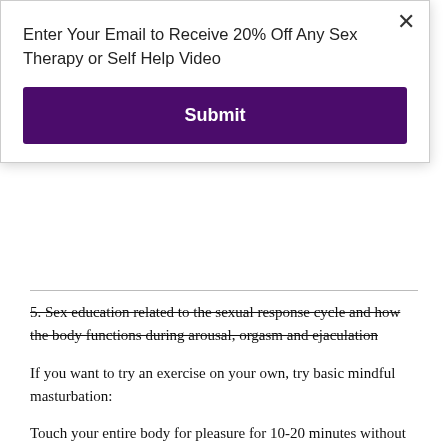Enter Your Email to Receive 20% Off Any Sex Therapy or Self Help Video
Submit
5. Sex education related to the sexual response cycle and how the body functions during arousal, orgasm and ejaculation
If you want to try an exercise on your own, try basic mindful masturbation:
Touch your entire body for pleasure for 10-20 minutes without trying to reach orgasm. Explore from head to toe. Don't get hung up on your genitals, but don't ignore them either.
Tune into your unique responses and physical sensations. What are there textures, pressure, rhythm, movements, temperatures and other sensations you feel in your skin?